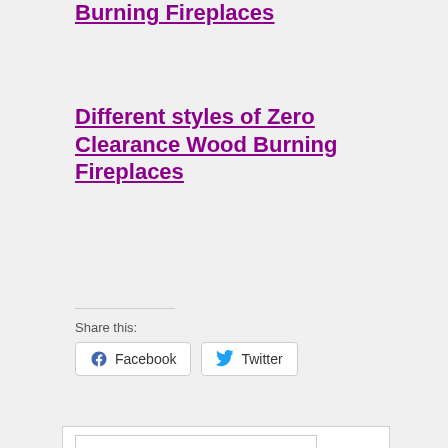Burning Fireplaces
Different styles of Zero Clearance Wood Burning Fireplaces
Share this:
Facebook  Twitter